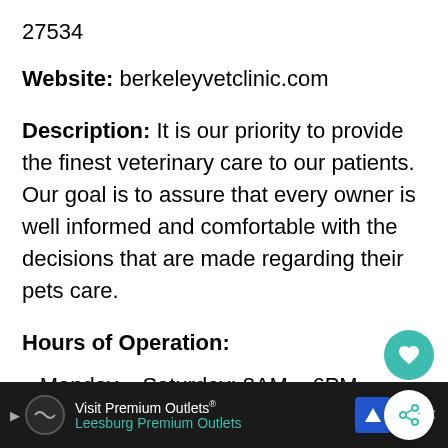27534
Website: berkeleyvetclinic.com
Description: It is our priority to provide the finest veterinary care to our patients. Our goal is to assure that every owner is well informed and comfortable with the decisions that are made regarding their pets care.
Hours of Operation:
Monday – Saturday: 8AM – 6PM
[Figure (other): Advertisement banner for Visit Premium Outlets - Leesburg Premium Outlets with navigation icon]